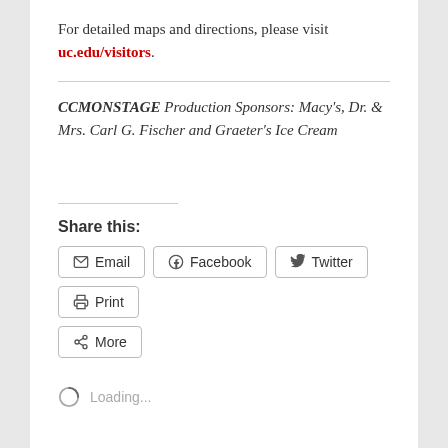For detailed maps and directions, please visit uc.edu/visitors.
CCMONSTAGE Production Sponsors: Macy's, Dr. & Mrs. Carl G. Fischer and Graeter's Ice Cream
Share this:
Email   Facebook   Twitter   Print   More
Loading...